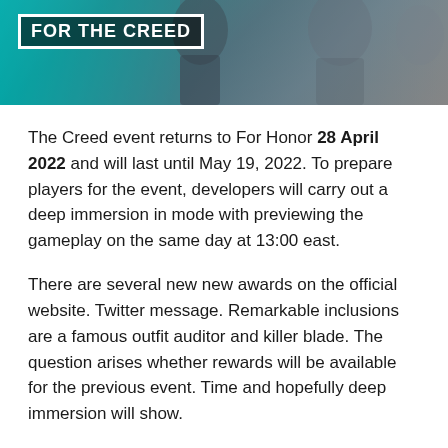[Figure (photo): Banner image for 'For The Creed' event in For Honor game, showing characters in a teal/grey toned scene with a white-bordered label reading 'FOR THE CREED']
The Creed event returns to For Honor 28 April 2022 and will last until May 19, 2022. To prepare players for the event, developers will carry out a deep immersion in mode with previewing the gameplay on the same day at 13:00 east.
There are several new new awards on the official website. Twitter message. Remarkable inclusions are a famous outfit auditor and killer blade. The question arises whether rewards will be available for the previous event. Time and hopefully deep immersion will show.